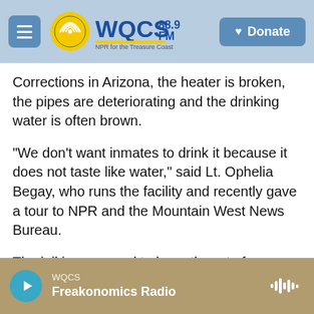WQCS 88.9 FM — NPR for the Treasure Coast | Donate
Corrections in Arizona, the heater is broken, the pipes are deteriorating and the drinking water is often brown.
"We don't want inmates to drink it because it does not taste like water," said Lt. Ophelia Begay, who runs the facility and recently gave a tour to NPR and the Mountain West News Bureau.
The jail is supposed to have three to four correctional officers on duty per shift but has only two, and they also work as the jail's janitors, cooks and transport team, she said. When an inmate
WQCS
Freakonomics Radio